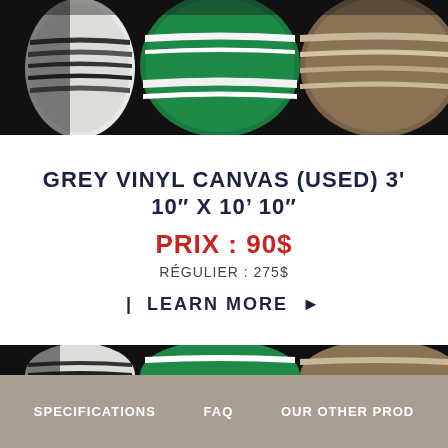[Figure (photo): Rolled fabric/canvas bolts in green, white/grey stripes, and brown/tan colors stacked together]
GREY VINYL CANVAS (USED) 3' 10" X 10' 10"
PRIX : 90$
RÉGULIER : 275$
| LEARN MORE |
[Figure (photo): Same rolled fabric/canvas bolts in green, white/grey stripes, and brown/tan colors - partial view]
SPECIFICATIONS   FAQ   OUR OTHER PROD